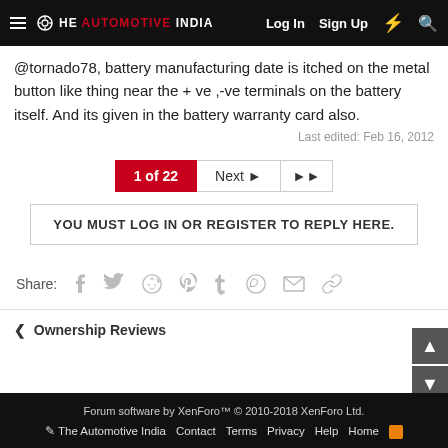The Automotive India — Log In  Sign Up
@tornado78, battery manufacturing date is itched on the metal button like thing near the + ve ,-ve terminals on the battery itself. And its given in the battery warranty card also.
Last edited: Feb 16, 2012
1 of 22  Next  >>
YOU MUST LOG IN OR REGISTER TO REPLY HERE.
Share:
Ownership Reviews
Forum software by XenForo™ © 2010-2018 XenForo Ltd.  The Automotive India  Contact  Terms  Privacy  Help  Home